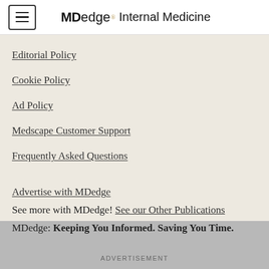MDedge® Internal Medicine
Editorial Policy
Cookie Policy
Ad Policy
Medscape Customer Support
Frequently Asked Questions
Advertise with MDedge
See more with MDedge! See our Other Publications
MDedge: Keeping You Informed. Saving You Time.
ADVERTISEMENT